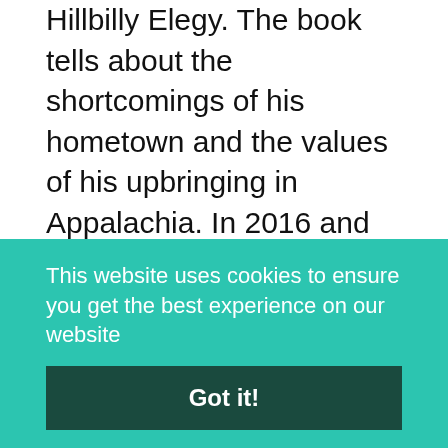Hillbilly Elegy. The book tells about the shortcomings of his hometown and the values of his upbringing in Appalachia. In 2016 and 2017 his book made the New York Times bestseller list. His book was a finalist for the Dayton Peace Prize for Literature in 2017. During the 2016 elections, the book attracted a lot of attention in the national media as a window on the white working class.
Despite the public attention and criticism, his book
This website uses cookies to ensure you get the best experience on our website
Got it!